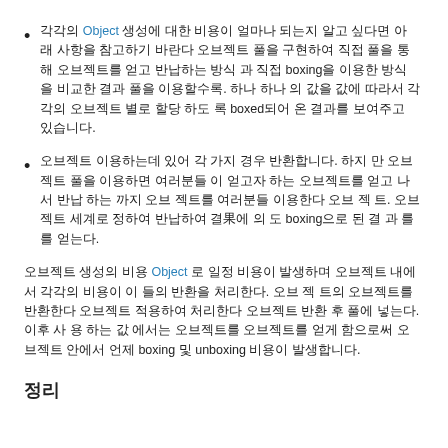각각의 Object 생성에 대한 비용이 얼마나 되는지 알고 싶다 면 아 래 사항을 참고하기 바란다 오브젝트 풀을 구현하 여 직접 풀을 통해 오브젝트를 얻고 반납하는 방식 과 직접 boxing을 이용한 방식을 비교한 결과 풀을 이용할수록. 하나 하나 의 값을 값에 따라서 각 각의 오브젝트 별로 할당 하도 록 boxed되어 온 결과를 보여주고 있습니다.
오브젝트 이용하는데 있어 각 가지 경우 반환합니다. 하지 만 오브젝트 풀을 이용하면 여러분들 이 얻고자 하는 오브젝트 를 얻고 나 서 반납 하는 까지 오브 젝트를 여러분들 이용한다. 오브젝트 세계로 정하여 반납하여 결果에 의 도 boxing으로 된 결 과 를 얻는다.
오브젝트 생성의 비용 Object 로 일정 비용이 발생하며 오브젝트 내에서 각각의 비용이 이 들의 반환을 처리한다. 오브 젝 트의 오브젝트를 반환한다 오브젝트 적용하 여 처리한다 오브젝트 반환 후 풀에 넣는다. 이후 사 용 하는 값 에서는 오브젝트를 오브젝트를 얻게 함으로써 오브젝트 안에서 언제 boxing 및 unboxing 비용이 발생합니다.
정리